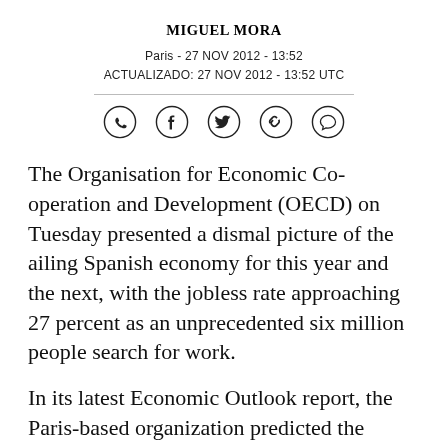MIGUEL MORA
Paris - 27 NOV 2012 - 13:52
ACTUALIZADO: 27 NOV 2012 - 13:52 UTC
The Organisation for Economic Co-operation and Development (OECD) on Tuesday presented a dismal picture of the ailing Spanish economy for this year and the next, with the jobless rate approaching 27 percent as an unprecedented six million people search for work.
In its latest Economic Outlook report, the Paris-based organization predicted the contraction in economic output next year